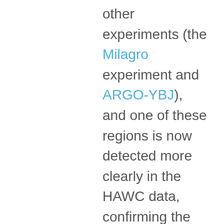other experiments (the Milagro experiment and ARGO-YBJ), and one of these regions is now detected more clearly in the HAWC data, confirming the previous results. The colors in the map indicate the significance level: a comparison of the level of detection of each feature to the noise in the measurement. The authors also explore the energy spectrum of the cosmic rays coming from Region A, the most significant